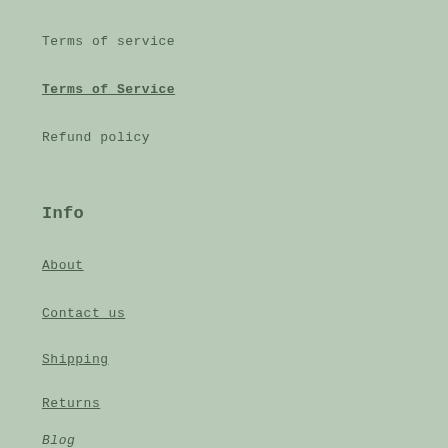Terms of service
Terms of Service
Refund policy
Info
About
Contact us
Shipping
Returns
Blog